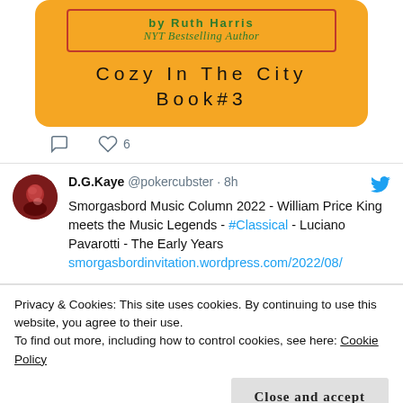[Figure (illustration): Book cover on orange/amber background showing 'by Ruth Harris NYT Bestselling Author' in green text with red border, and 'Cozy In The City Book #3' in black text below]
comment icon  heart icon  6
D.G.Kaye @pokercubster · 8h  Smorgasbord Music Column 2022 - William Price King meets the Music Legends - #Classical - Luciano Pavarotti - The Early Years smorgasbordinvitation.wordpress.com/2022/08/
Privacy & Cookies: This site uses cookies. By continuing to use this website, you agree to their use.
To find out more, including how to control cookies, see here: Cookie Policy
Close and accept
comment icon  heart icon